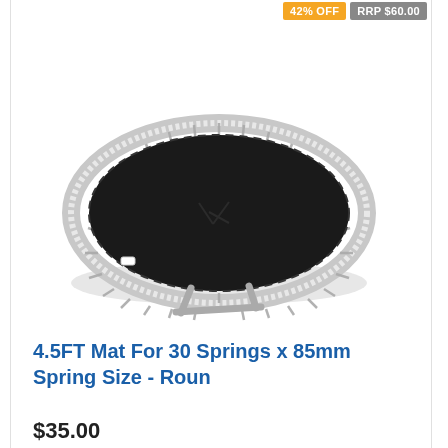42% OFF
RRP $60.00
[Figure (photo): A round trampoline mat with metal frame and springs, viewed from above at a slight angle. The mat is black and circular, with silver/grey spring attachments around the perimeter.]
4.5FT Mat For 30 Springs x 85mm Spring Size - Roun
$35.00